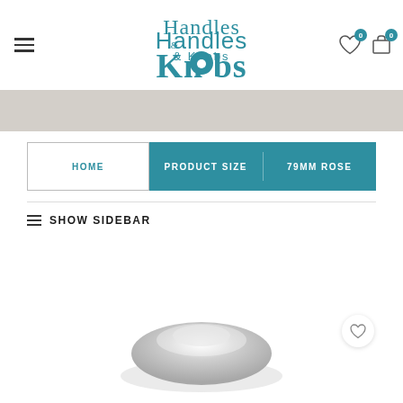Handles & Knobs — navigation header with hamburger menu, logo, wishlist and cart icons
[Figure (screenshot): Gray banner below header]
[Figure (screenshot): Breadcrumb navigation bar: HOME | PRODUCT SIZE | 79MM ROSE]
SHOW SIDEBAR
[Figure (photo): Product image of a chrome/silver door knob rose partially visible at bottom of page, with a heart wishlist icon]